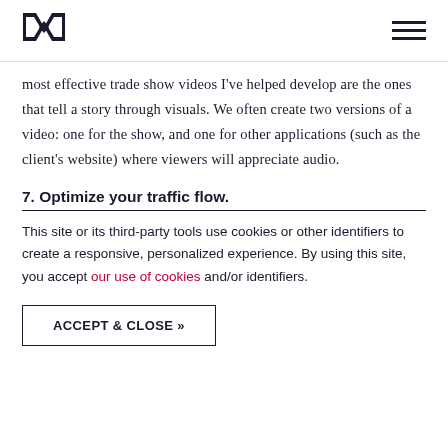[Figure (logo): Black stylized M letter logo (origami/geometric style)]
most effective trade show videos I've helped develop are the ones that tell a story through visuals. We often create two versions of a video: one for the show, and one for other applications (such as the client's website) where viewers will appreciate audio.
7. Optimize your traffic flow.
This site or its third-party tools use cookies or other identifiers to create a responsive, personalized experience. By using this site, you accept our use of cookies and/or identifiers.
ACCEPT & CLOSE »